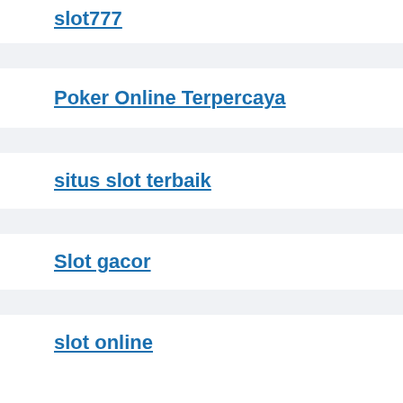slot777
Poker Online Terpercaya
situs slot terbaik
Slot gacor
slot online